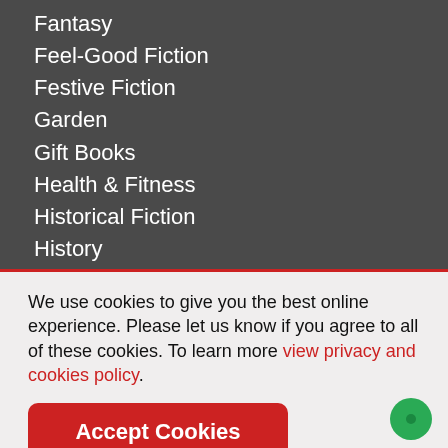Fantasy
Feel-Good Fiction
Festive Fiction
Garden
Gift Books
Health & Fitness
Historical Fiction
History
Home
We use cookies to give you the best online experience. Please let us know if you agree to all of these cookies. To learn more view privacy and cookies policy.